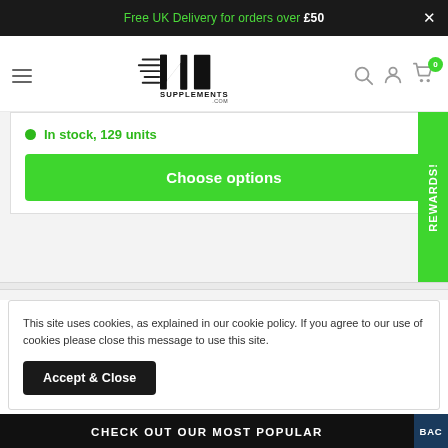Free UK Delivery for orders over £50
[Figure (logo): NI Supplements .com logo with stylized N and I letters and speed lines]
In stock, 129 units
Choose options
REWARDS!
This site uses cookies, as explained in our cookie policy. If you agree to our use of cookies please close this message to use this site.
Accept & Close
CHECK OUT OUR MOST POPULAR
BAC